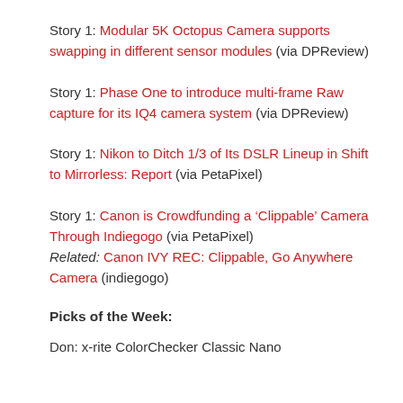Story 1: Modular 5K Octopus Camera supports swapping in different sensor modules (via DPReview)
Story 1: Phase One to introduce multi-frame Raw capture for its IQ4 camera system (via DPReview)
Story 1: Nikon to Ditch 1/3 of Its DSLR Lineup in Shift to Mirrorless: Report (via PetaPixel)
Story 1: Canon is Crowdfunding a ‘Clippable’ Camera Through Indiegogo (via PetaPixel)
Related: Canon IVY REC: Clippable, Go Anywhere Camera (indiegogo)
Picks of the Week:
Don: x-rite ColorChecker Classic Nano